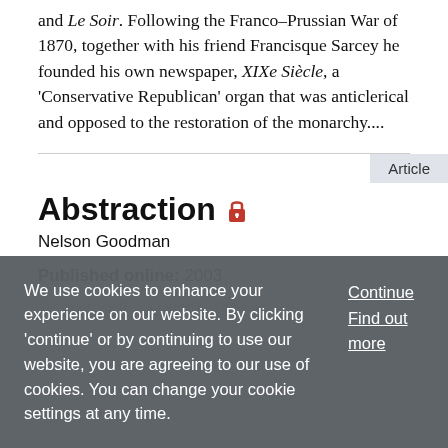and Le Soir. Following the Franco–Prussian War of 1870, together with his friend Francisque Sarcey he founded his own newspaper, XIXe Siècle, a 'Conservative Republican' organ that was anticlerical and opposed to the restoration of the monarchy....
Article
Abstraction
Nelson Goodman
Published online: 2003
We use cookies to enhance your experience on our website. By clicking 'continue' or by continuing to use our website, you are agreeing to our use of cookies. You can change your cookie settings at any time.
Continue
Find out more